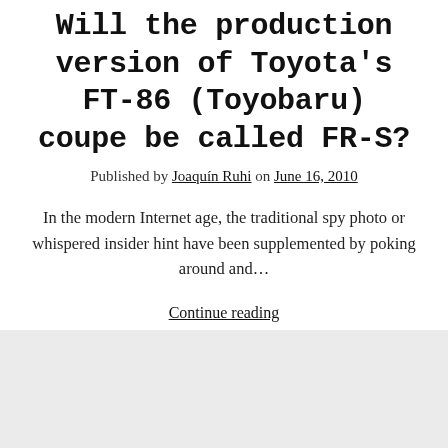Will the production version of Toyota's FT-86 (Toyobaru) coupe be called FR-S?
Published by Joaquín Ruhi on June 16, 2010
In the modern Internet age, the traditional spy photo or whispered insider hint have been supplemented by poking around and…
Continue reading